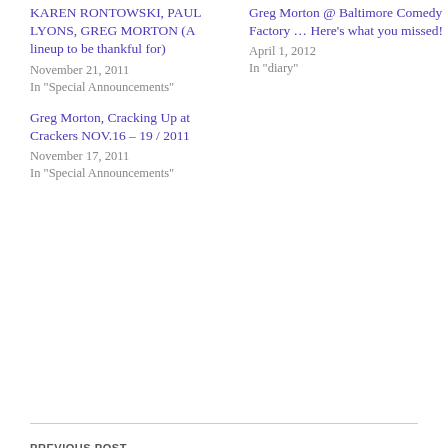KAREN RONTOWSKI, PAUL LYONS, GREG MORTON (A lineup to be thankful for)
November 21, 2011
In "Special Announcements"
Greg Morton @ Baltimore Comedy Factory … Here's what you missed!
April 1, 2012
In "diary"
Greg Morton, Cracking Up at Crackers NOV.16 – 19 / 2011
November 17, 2011
In "Special Announcements"
PREVIOUS POST
NEXT WEEK! MARCH 11 – 17 VEGAS BABY!